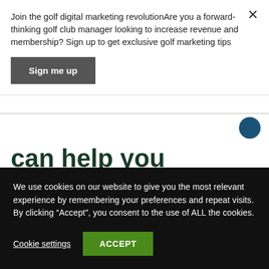Join the golf digital marketing revolutionAre you a forward-thinking golf club manager looking to increase revenue and membership? Sign up to get exclusive golf marketing tips
Sign me up
can help you
Looking to use your time more effectively? We would love to
We use cookies on our website to give you the most relevant experience by remembering your preferences and repeat visits. By clicking “Accept”, you consent to the use of ALL the cookies.
Cookie settings
ACCEPT